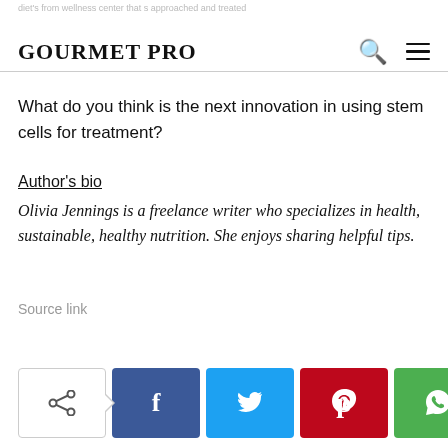GOURMET PRO
What do you think is the next innovation in using stem cells for treatment?
Author's bio
Olivia Jennings is a freelance writer who specializes in health, sustainable, healthy nutrition. She enjoys sharing helpful tips.
Source link
[Figure (infographic): Social share bar with outline share button and colored social media buttons: Facebook (blue), Twitter (cyan), Pinterest (red), WhatsApp (green)]